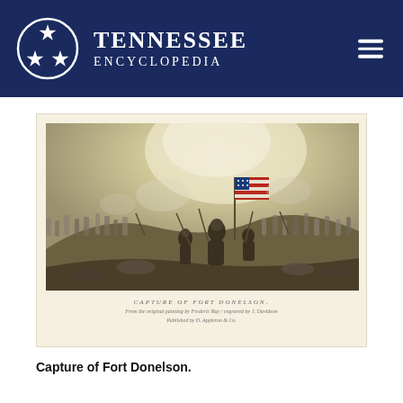TENNESSEE ENCYCLOPEDIA
[Figure (illustration): Historical engraving/illustration depicting the Capture of Fort Donelson — a Civil War battle scene with soldiers charging, an American flag being raised, smoke and chaos of battle, rendered in sepia/muted tones.]
Capture of Fort Donelson.